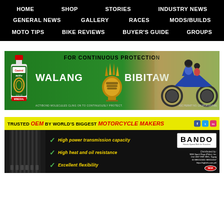HOME  SHOP  STORIES  INDUSTRY NEWS  GENERAL NEWS  GALLERY  RACES  MODS/BUILDS  MOTO TIPS  BIKE REVIEWS  BUYER'S GUIDE  GROUPS
[Figure (advertisement): Castrol Activ motor oil advertisement on green background. Text: FOR CONTINUOUS PROTECTION. WALANG BIBITAW. ACTIBOND MOLECULES CLING ON TO CONTINUOUSLY PROTECT. Shows Castrol Activ oil bottle, golden trophy/fist figure, and motorcycle rider with child passenger.]
[Figure (advertisement): Bando drive belts advertisement. Yellow top strip: TRUSTED OEM BY WORLD'S BIGGEST MOTORCYCLE MAKERS. Features: High power transmission capacity, High heat and oil resistance, Excellent flexibility. Shows BANDO logo, distributed by NGK Spark Plugs (Phils.), Inc.]